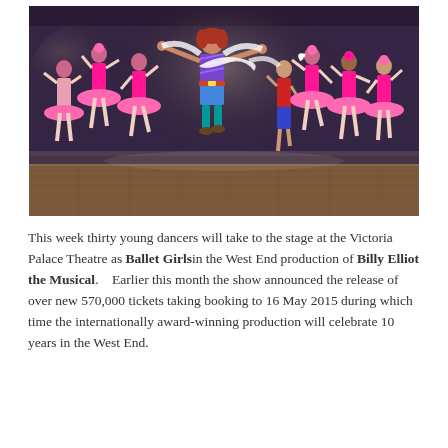[Figure (photo): Stage performance photo showing a person in blue sequin shorts and purple top with arms outstretched surrounded by young dancers in pink tutus on a theatre stage — from Billy Elliot the Musical at Victoria Palace Theatre.]
This week thirty young dancers will take to the stage at the Victoria Palace Theatre as Ballet Girls in the West End production of Billy Elliot the Musical.    Earlier this month the show announced the release of over new 570,000 tickets taking booking to 16 May 2015 during which time the internationally award-winning production will celebrate 10 years in the West End.